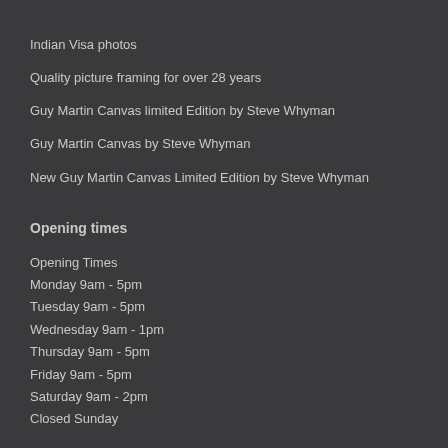Indian Visa photos
Quality picture framing for over 28 years
Guy Martin Canvas limited Edition by Steve Whyman
Guy Martin Canvas by Steve Whyman
New Guy Martin Canvas Limited Edition by Steve Whyman
Opening times
Opening Times
Monday 9am - 5pm
Tuesday 9am - 5pm
Wednesday 9am - 1pm
Thursday 9am - 5pm
Friday 9am - 5pm
Saturday 9am - 2pm
Closed Sunday